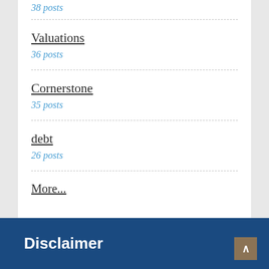38 posts
Valuations
36 posts
Cornerstone
35 posts
debt
26 posts
More...
Disclaimer